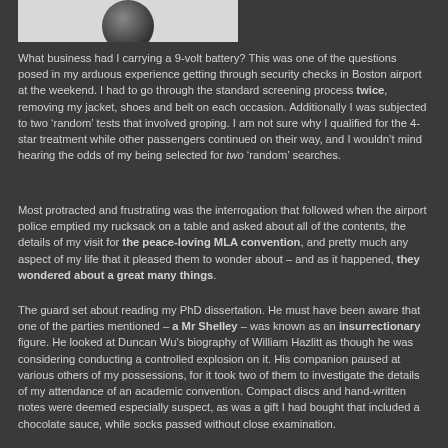[Figure (photo): Partial photo showing a dark spherical object against a light background, cropped at top of page]
What business had I carrying a 9-volt battery? This was one of the questions posed in my arduous experience getting through security checks in Boston airport at the weekend. I had to go through the standard screening process twice, removing my jacket, shoes and belt on each occasion. Additionally I was subjected to two ‘random’ tests that involved groping. I am not sure why I qualified for the 4-star treatment while other passengers continued on their way, and I wouldn’t mind hearing the odds of my being selected for two ‘random’ searches.
Most protracted and frustrating was the interrogation that followed when the airport police emptied my rucksack on a table and asked about all of the contents, the details of my visit for the peace-loving MLA convention, and pretty much any aspect of my life that it pleased them to wonder about – and as it happened, they wondered about a great many things.
The guard set about reading my PhD dissertation. He must have been aware that one of the parties mentioned – a Mr Shelley – was known as an insurrectionary figure. He looked at Duncan Wu’s biography of William Hazlitt as though he was considering conducting a controlled explosion on it. His companion paused at various others of my possessions, for it took two of them to investigate the details of my attendance of an academic convention. Compact discs and hand-written notes were deemed especially suspect, as was a gift I had bought that included a chocolate sauce, while socks passed without close examination.